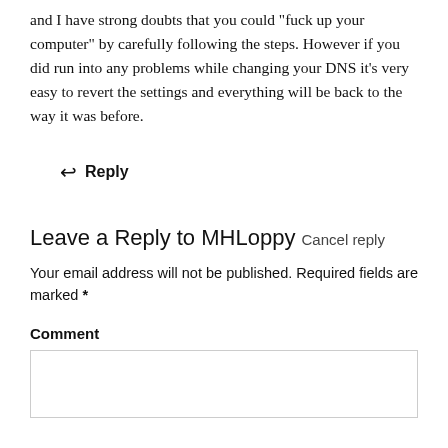and I have strong doubts that you could "fuck up your computer" by carefully following the steps. However if you did run into any problems while changing your DNS it's very easy to revert the settings and everything will be back to the way it was before.
↩ Reply
Leave a Reply to MHLoppy Cancel reply
Your email address will not be published. Required fields are marked *
Comment